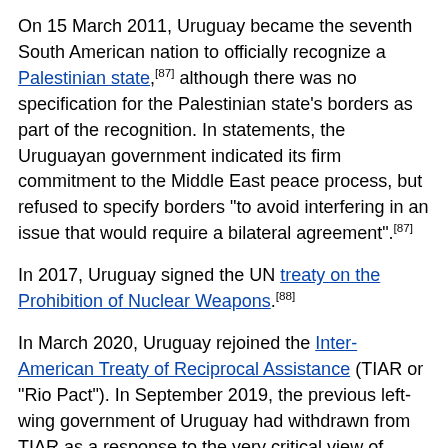On 15 March 2011, Uruguay became the seventh South American nation to officially recognize a Palestinian state,[87] although there was no specification for the Palestinian state's borders as part of the recognition. In statements, the Uruguayan government indicated its firm commitment to the Middle East peace process, but refused to specify borders "to avoid interfering in an issue that would require a bilateral agreement".[87]
In 2017, Uruguay signed the UN treaty on the Prohibition of Nuclear Weapons.[88]
In March 2020, Uruguay rejoined the Inter-American Treaty of Reciprocal Assistance (TIAR or "Rio Pact"). In September 2019, the previous left-wing government of Uruguay had withdrawn from TIAR as a response to the very critical view of Venezuela the other members of the regional defense agreement had.[89]
Military
Main article: Military of Uruguay
[Figure (photo): Photograph of a military tank with a long barrel gun, partially visible, with a flag in the background against a light sky.]